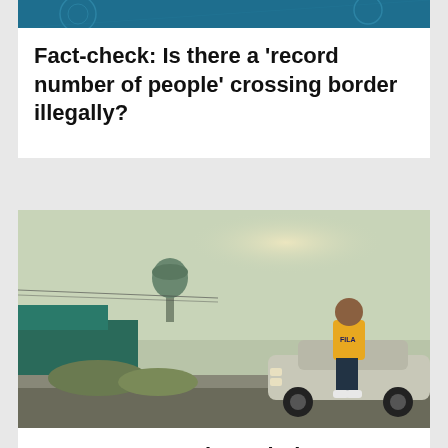[Figure (photo): Partial top of an article image with dark teal/blue decorative background pattern]
Fact-check: Is there a 'record number of people' crossing border illegally?
[Figure (photo): A man in a yellow FILA shirt leaning against a classic car on a street in Houston, with a water tower in the background. Warm vintage-toned photograph.]
Houston oozes through the screen in Mo Amer's new Netflix series